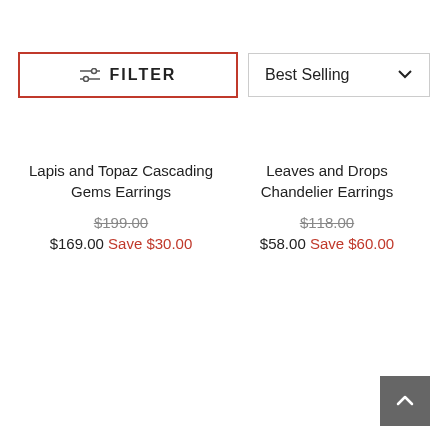FILTER
Best Selling
Lapis and Topaz Cascading Gems Earrings
$199.00
$169.00 Save $30.00
Leaves and Drops Chandelier Earrings
$118.00
$58.00 Save $60.00
[Figure (other): Back to top button with upward chevron arrow on dark grey background]